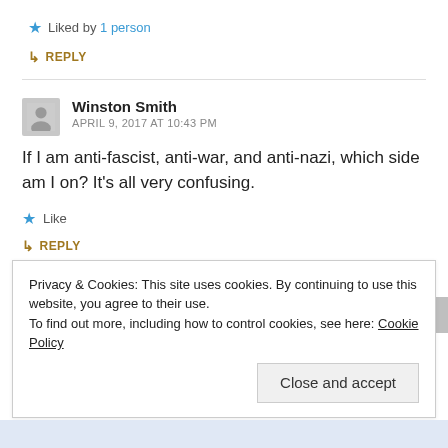★ Liked by 1 person
↳ REPLY
Winston Smith
APRIL 9, 2017 AT 10:43 PM
If I am anti-fascist, anti-war, and anti-nazi, which side am I on? It's all very confusing.
★ Like
↳ REPLY
Privacy & Cookies: This site uses cookies. By continuing to use this website, you agree to their use.
To find out more, including how to control cookies, see here: Cookie Policy
Close and accept